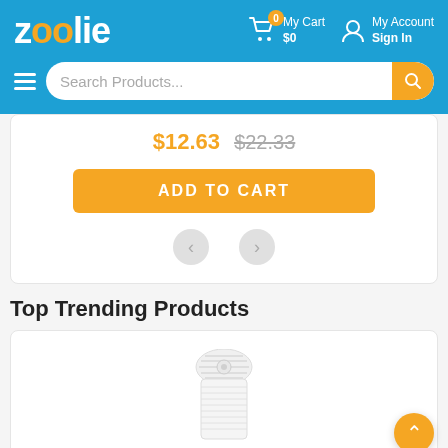zoolie — My Cart $0 | My Account Sign In — Search Products...
$12.63 $22.33
ADD TO CART
Top Trending Products
[Figure (photo): Partial image of a white tower fan visible at bottom of page inside a product card]